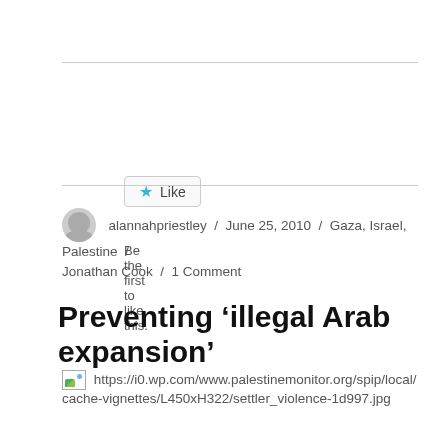[Figure (other): Like button widget with star icon and 'Like' text, with 'Be the first to like this.' text below]
alannahpriestley / June 25, 2010 / Gaza, Israel, Palestine / Jonathan Cook / 1 Comment
Preventing ‘illegal Arab expansion’
[Figure (other): Broken image placeholder with URL: https://i0.wp.com/www.palestinemonitor.org/spip/local/cache-vignettes/L450xH322/settler_violence-1d997.jpg]